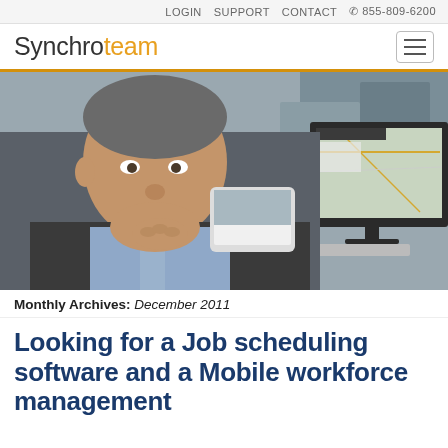LOGIN   SUPPORT   CONTACT   ☎ 855-809-6200
[Figure (logo): Synchroteam logo with hamburger menu icon]
[Figure (photo): Business professional man in suit sitting at desk with computer monitor showing mapping software, thinking pose with hand near chin, cars in background through window]
Monthly Archives: December 2011
Looking for a Job scheduling software and a Mobile workforce management